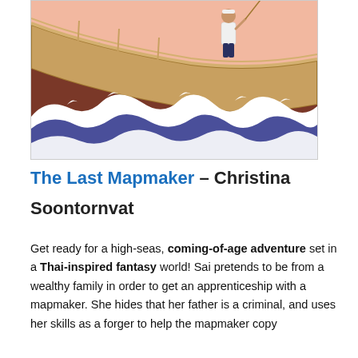[Figure (illustration): Illustrated scene of a person standing on a ship deck holding a rope, with stylized ocean waves below in a Thai/Japanese art style. The background is pink/salmon with the ship's wooden hull visible. Large decorative white-capped blue waves fill the lower half.]
The Last Mapmaker – Christina Soontornvat
Get ready for a high-seas, coming-of-age adventure set in a Thai-inspired fantasy world! Sai pretends to be from a wealthy family in order to get an apprenticeship with a mapmaker. She hides that her father is a criminal, and uses her skills as a forger to help the mapmaker copy